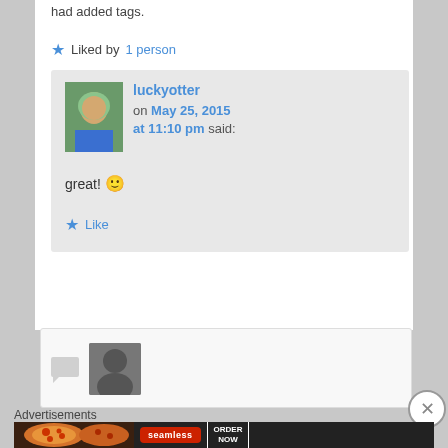had added tags.
★ Liked by 1 person
luckyotter on May 25, 2015 at 11:10 pm said:
great! 🙂
★ Like
Advertisements
[Figure (screenshot): Seamless pizza order advertisement banner with red Seamless logo button and ORDER NOW button]